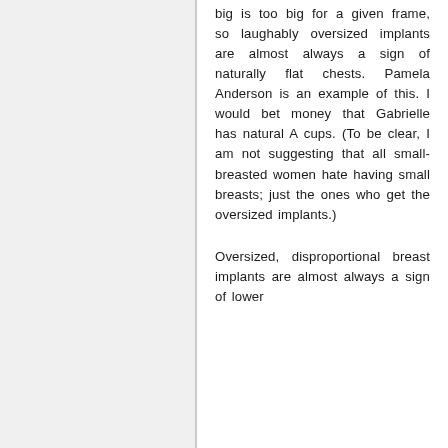big is too big for a given frame, so laughably oversized implants are almost always a sign of naturally flat chests. Pamela Anderson is an example of this. I would bet money that Gabrielle has natural A cups. (To be clear, I am not suggesting that all small-breasted women hate having small breasts; just the ones who get the oversized implants.)
Oversized, disproportional breast implants are almost always a sign of lower